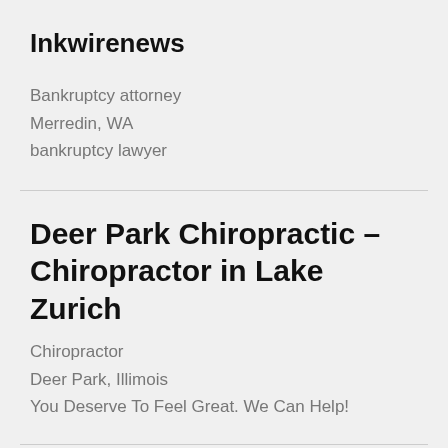Inkwirenews
Bankruptcy attorney
Merredin, WA
bankruptcy lawyer
Deer Park Chiropractic – Chiropractor in Lake Zurich
Chiropractor
Deer Park, Illimois
You Deserve To Feel Great. We Can Help!
Basement Flooring Specialists